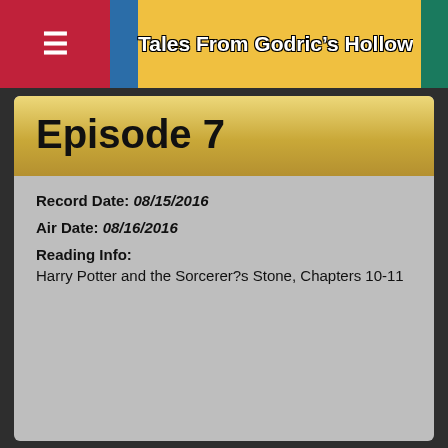Tales From Godric's Hollow
Episode 7
Record Date: 08/15/2016
Air Date: 08/16/2016
Reading Info:
Harry Potter and the Sorcerer?s Stone, Chapters 10-11
Giveaway Winner